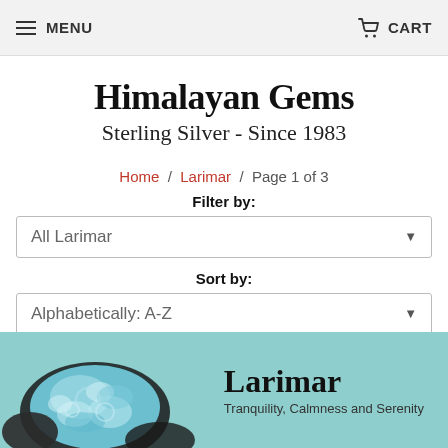MENU   CART
Himalayan Gems
Sterling Silver - Since 1983
Home / Larimar / Page 1 of 3
Filter by:
All Larimar
Sort by:
Alphabetically: A-Z
[Figure (photo): Larimar gemstone on teal background with text: Larimar - Tranquility, Calmness and Serenity]